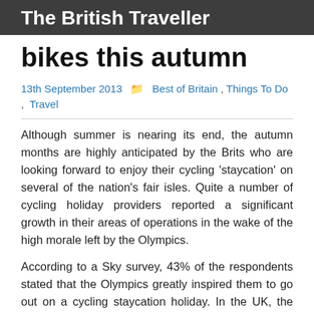The British Traveller
bikes this autumn
13th September 2013   Best of Britain, Things To Do, Travel
Although summer is nearing its end, the autumn months are highly anticipated by the Brits who are looking forward to enjoy their cycling 'staycation' on several of the nation's fair isles. Quite a number of cycling holiday providers reported a significant growth in their areas of operations in the wake of the high morale left by the Olympics.
According to a Sky survey, 43% of the respondents stated that the Olympics greatly inspired them to go out on a cycling staycation holiday. In the UK, the cycling industry is worth more than £1bn, and as the cool weather starts, there will be more and more families and couple who will pack up their puncture kits and helmets to head out to